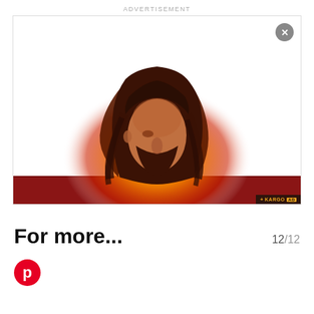ADVERTISEMENT
[Figure (photo): Advertisement banner showing a man with long dark hair against a fiery orange/red background, with a KARGO AD badge in the bottom right corner and a close (X) button in the top right.]
For more...
12/12
[Figure (logo): Pinterest logo icon (red circle with white P)]